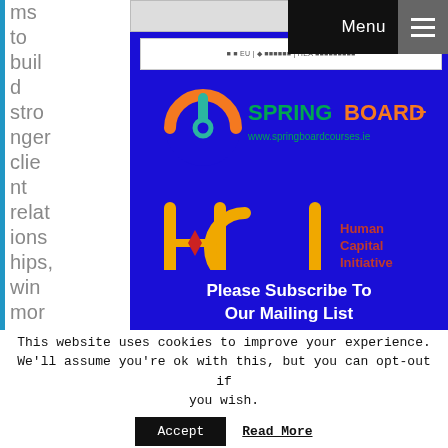ms to build stronger client relationships, win more e
[Figure (logo): Springboard+ logo with power button icon and www.springboardcourses.ie URL on blue background]
[Figure (logo): HCI - Human Capital Initiative logo on blue background with orange/yellow styling]
Please Subscribe To Our Mailing List
This website uses cookies to improve your experience. We'll assume you're ok with this, but you can opt-out if you wish.
Accept
Read More